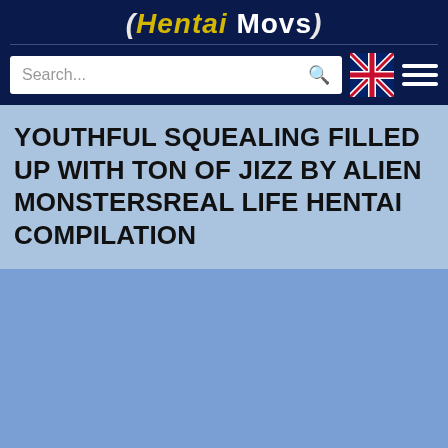(Hentai Movs)
YOUTHFUL SQUEALING FILLED UP WITH TON OF JIZZ BY ALIEN MONSTERSREAL LIFE HENTAI COMPILATION
[Figure (screenshot): Large blue placeholder area below the title]